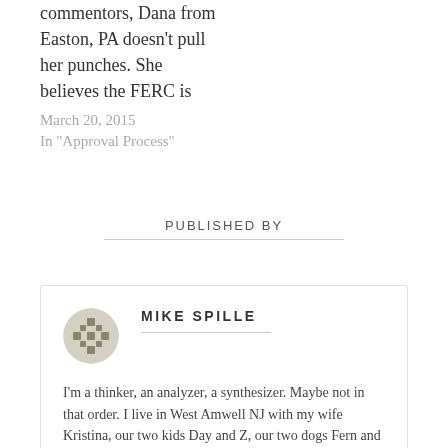commentors, Dana from Easton, PA doesn't pull her punches. She believes the FERC is
March 20, 2015
In "Approval Process"
PUBLISHED BY
MIKE SPILLE
I'm a thinker, an analyzer, a synthesizer. Maybe not in that order. I live in West Amwell NJ with my wife Kristina, our two kids Day and Z, our two dogs Fern and Cinna, and three cats Ponce de Leon, Oliver, and Doolittle. View all posts by Mike Spille →